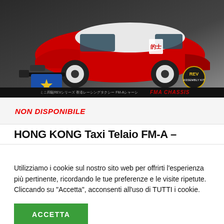[Figure (photo): Product photo of a Tamiya mini 4WD Hong Kong Taxi model car (red and white) with FM-A chassis on a product box. Tamiya logo and REV badge visible. Text at bottom reads FMA CHASSIS in red.]
NON DISPONIBILE
HONG KONG Taxi Telaio FM-A –
Utilizziamo i cookie sul nostro sito web per offrirti l'esperienza più pertinente, ricordando le tue preferenze e le visite ripetute. Cliccando su "Accetta", acconsenti all'uso di TUTTI i cookie.
ACCETTA